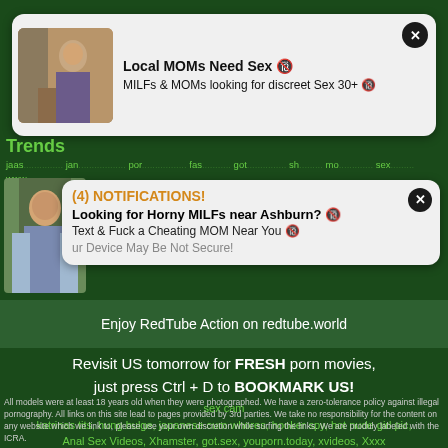[Figure (screenshot): Popup ad card 1: Local MOMs Need Sex]
Local MOMs Need Sex 🔞
MILFs & MOMs looking for discreet Sex 30+ 🔞
Trends
jaas... jan... por... fas... got... sh... mo... sex www... sauna free porn indian hot sex 5 star hotelerotica for women five star hotel erotica for women five star hotel, yong brother and sister xnxx, nsfwmonster-tube, fullxxxvideos-tube,
[Figure (screenshot): Popup notification: (4) NOTIFICATIONS! Looking for Horny MILFs near Ashburn? Text & Fuck a Cheating MOM Near You. Your Device May Be Not Secure!]
Enjoy RedTube Action on redtube.world
Revisit US tomorrow for FRESH porn movies, just press Ctrl + D to BOOKMARK US!
sex cam
katrinas tits, hung bulge, japanese cum whores, hooker spy, hot nude girl pic, Anal Sex Videos, Xhamster, got.sex, youporn.today, xvideos, Xxxx
All models were at least 18 years old when they were photographed. We have a zero-tolerance policy against illegal pornography. All links on this site lead to pages provided by 3rd parties. We take no responsibility for the content on any website which we link to, please use your own discretion while surfing the links. We are produly labeled with the ICRA.